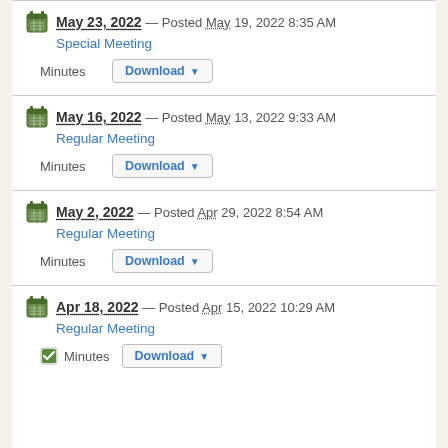May 23, 2022 — Posted May 19, 2022 8:35 AM
Special Meeting
Minutes Download
May 16, 2022 — Posted May 13, 2022 9:33 AM
Regular Meeting
Minutes Download
May 2, 2022 — Posted Apr 29, 2022 8:54 AM
Regular Meeting
Minutes Download
Apr 18, 2022 — Posted Apr 15, 2022 10:29 AM
Regular Meeting
Minutes Download